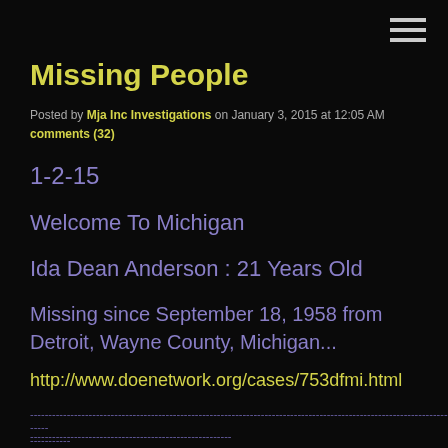Missing People
Posted by Mja Inc Investigations on January 3, 2015 at 12:05 AM
comments (32)
1-2-15
Welcome To Michigan
Ida Dean Anderson : 21 Years Old
Missing since September 18, 1958 from Detroit, Wayne County, Michigan...
http://www.doenetwork.org/cases/753dfmi.html
------------------------------------------------------------------------------------------------------------
------------------------------------------------------